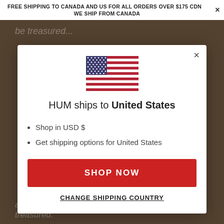FREE SHIPPING TO CANADA AND US FOR ALL ORDERS OVER $175 CDN   WE SHIP FROM CANADA
[Figure (illustration): US flag SVG illustration centered in modal]
HUM ships to United States
Shop in USD $
Get shipping options for United States
SHOP NOW
CHANGE SHIPPING COUNTRY